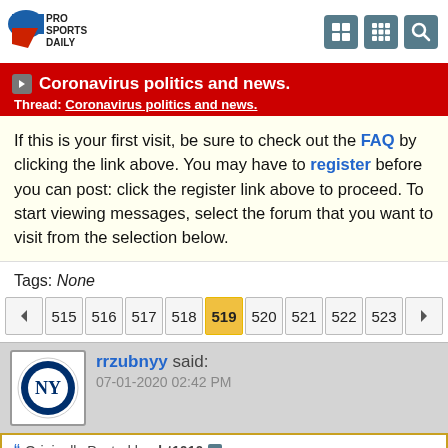Pro Sports Daily
Coronavirus politics and news.
Thread: Coronavirus politics and news.
If this is your first visit, be sure to check out the FAQ by clicking the link above. You may have to register before you can post: click the register link above to proceed. To start viewing messages, select the forum that you want to visit from the selection below.
Tags: None
515 516 517 518 519 520 521 522 523
rrzubnyy said: 07-01-2020 02:42 PM
Originally Posted by drt1010
Bingo! Post not to memorialize and commemorate a time...